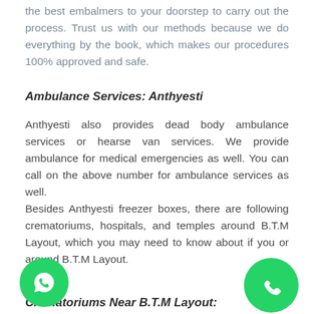the best embalmers to your doorstep to carry out the process. Trust us with our methods because we do everything by the book, which makes our procedures 100% approved and safe.
Ambulance Services: Anthyesti
Anthyesti also provides dead body ambulance services or hearse van services. We provide ambulance for medical emergencies as well. You can call on the above number for ambulance services as well.
Besides Anthyesti freezer boxes, there are following crematoriums, hospitals, and temples around B.T.M Layout, which you may need to know about if you or around B.T.M Layout.
Crematoriums Near B.T.M Layout: